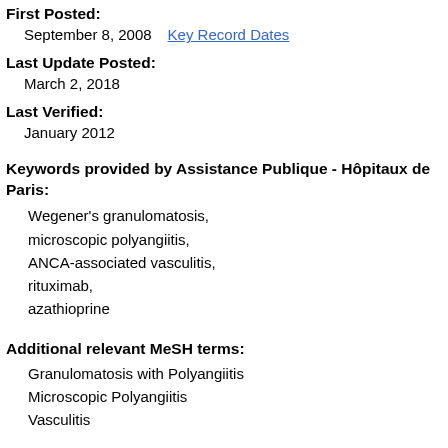First Posted:
September 8, 2008    Key Record Dates
Last Update Posted:
March 2, 2018
Last Verified:
January 2012
Keywords provided by Assistance Publique - Hôpitaux de Paris:
Wegener's granulomatosis,
microscopic polyangiitis,
ANCA-associated vasculitis,
rituximab,
azathioprine
Additional relevant MeSH terms:
Granulomatosis with Polyangiitis
Microscopic Polyangiitis
Vasculitis...